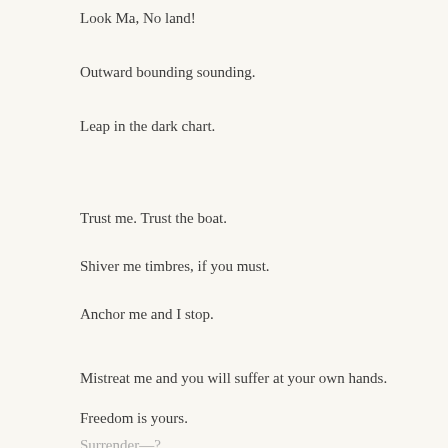Look Ma, No land!
Outward bounding sounding.
Leap in the dark chart.
Trust me. Trust the boat.
Shiver me timbres, if you must.
Anchor me and I stop.
Mistreat me and you will suffer at your own hands.
Freedom is yours.
Surrender—?